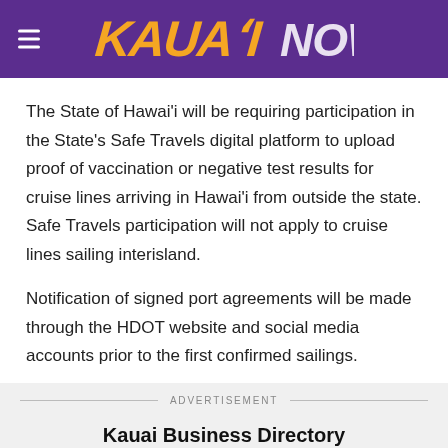KAUAI NOW
The State of Hawai'i will be requiring participation in the State's Safe Travels digital platform to upload proof of vaccination or negative test results for cruise lines arriving in Hawai'i from outside the state. Safe Travels participation will not apply to cruise lines sailing interisland.
Notification of signed port agreements will be made through the HDOT website and social media accounts prior to the first confirmed sailings.
ADVERTISEMENT
Kauai Business Directory
Find out what's open on Kauai Now